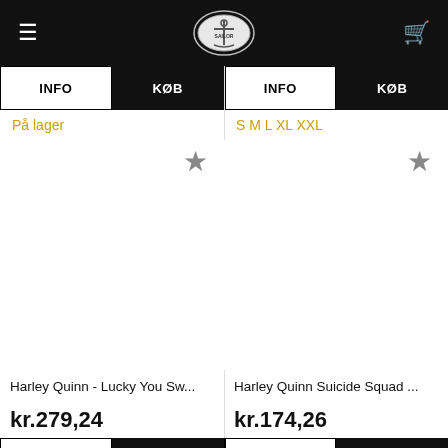Navigation bar with menu, search, sailor logo, and cart icons
INFO | KØB | INFO | KØB
På lager
S M L XL XXL
[Figure (screenshot): Empty product image area for Harley Quinn - Lucky You Sw... with star/favourite icon]
[Figure (screenshot): Empty product image area for Harley Quinn Suicide Squad ... with star/favourite icon]
Harley Quinn - Lucky You Sw...
Harley Quinn Suicide Squad ...
kr.279,24
kr.174,26
INFO | KØB | INFO | KØB